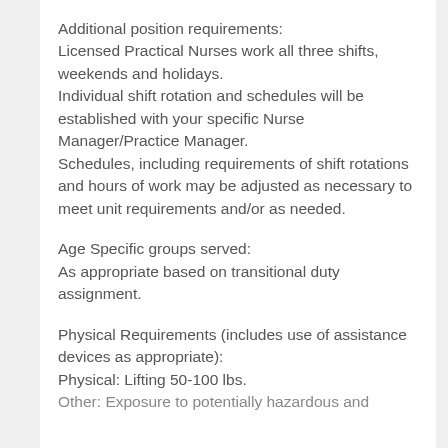Additional position requirements: Licensed Practical Nurses work all three shifts, weekends and holidays. Individual shift rotation and schedules will be established with your specific Nurse Manager/Practice Manager. Schedules, including requirements of shift rotations and hours of work may be adjusted as necessary to meet unit requirements and/or as needed.
Age Specific groups served: As appropriate based on transitional duty assignment.
Physical Requirements (includes use of assistance devices as appropriate): Physical: Lifting 50-100 lbs. Other: Exposure to potentially hazardous and